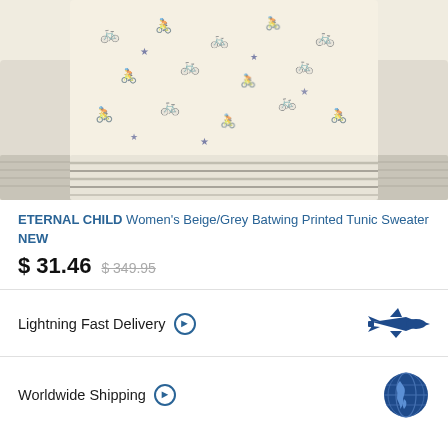[Figure (photo): ETERNAL CHILD Women's Beige/Grey Batwing Printed Tunic Sweater — a cropped view of a cream/beige sweater with blue bicycle/figure print pattern, batwing sleeves with grey ribbed cuffs, and grey/cream striped ribbed hem band.]
ETERNAL CHILD Women's Beige/Grey Batwing Printed Tunic Sweater NEW
$ 31.46  $ 349.95
Lightning Fast Delivery ➔
Worldwide Shipping ➔